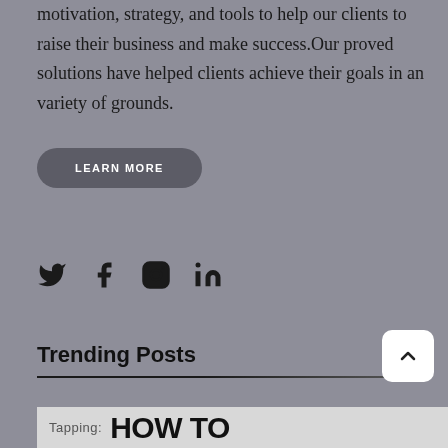motivation, strategy, and tools to help our clients to raise their business and make success.Our proved solutions have helped clients achieve their goals in an variety of grounds.
LEARN MORE
[Figure (other): Social media icons: Twitter, Facebook, Instagram, LinkedIn]
Trending Posts
[Figure (other): Trending post thumbnail showing 'Tapping: HOW TO' text on gray background]